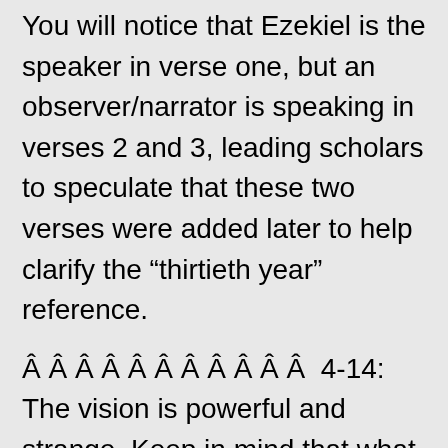You will notice that Ezekiel is the speaker in verse one, but an observer/narrator is speaking in verses 2 and 3, leading scholars to speculate that these two verses were added later to help clarify the “thirtieth year” reference.
Â Â Â Â Â Â Â Â Â Â Â  4-14: The vision is powerful and strange. Keep in mind that what he is describing is not an actual storm but the vision of a storm within a sort of window frame (“the heavens were opened,” — verse 1) allowing him to look into God’s abode. He sees a storm approaching from the north (the